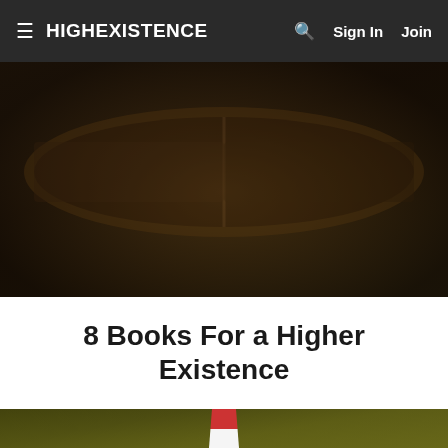≡ HIGHEXISTENCE  🔍  Sign In  Join
[Figure (photo): Dark moody photo of an open book lying on grass at night, used as hero image background]
10 Books That Will Help You Actually Make a Lasting Change
8 Books For a Higher Existence
[Figure (photo): Olive/yellow-green toned photo showing a hand releasing or holding a small open book with pages flying, surrounded by foliage]